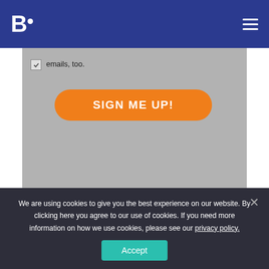B. (logo) with hamburger menu
emails, too.
SIGN ME UP!
You might also like:
We are using cookies to give you the best experience on our website. By clicking here you agree to our use of cookies. If you need more information on how we use cookies, please see our privacy policy.
Accept